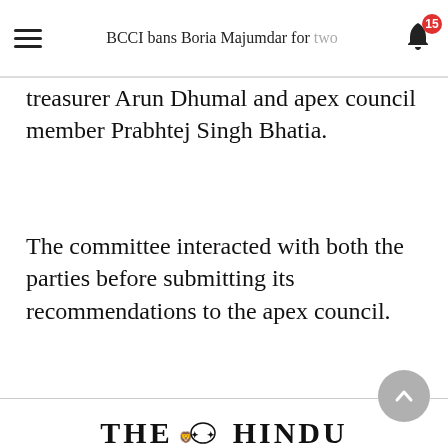BCCI bans Boria Majumdar for two
treasurer Arun Dhumal and apex council member Prabhtej Singh Bhatia.
The committee interacted with both the parties before submitting its recommendations to the apex council.
[Figure (logo): The Hindu newspaper logo with decorative emblem and tagline 'Our code of editorial values']
Related Topics
cricket